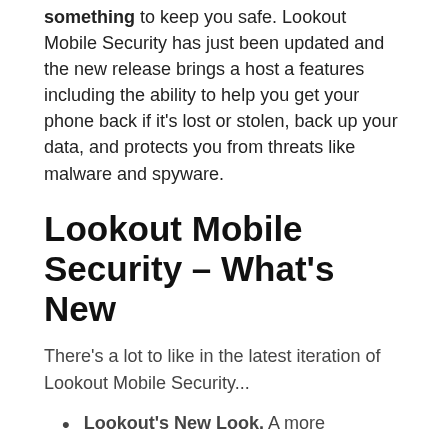something to keep you safe. Lookout Mobile Security has just been updated and the new release brings a host a features including the ability to help you get your phone back if it's lost or stolen, back up your data, and protects you from threats like malware and spyware.
Lookout Mobile Security – What's New
There's a lot to like in the latest iteration of Lookout Mobile Security...
Lookout's New Look. A more